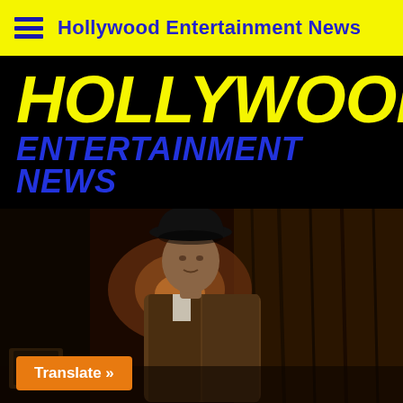Hollywood Entertainment News
HOLLYWOOD ENTERTAINMENT NEWS
[Figure (photo): Man wearing a black cowboy hat and brown jacket standing inside a dark log cabin with warm lighting in the background.]
Translate »